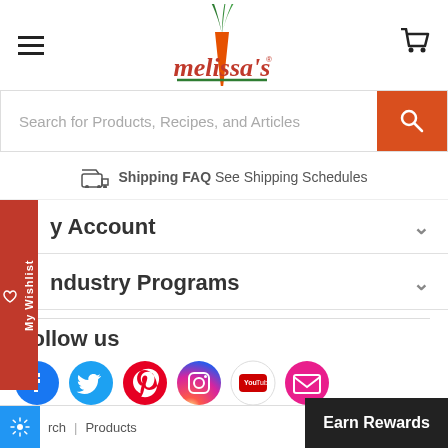[Figure (logo): Melissa's brand logo with carrot illustration and red stylized text]
Search for Products, Recipes, and Articles
Shipping FAQ See Shipping Schedules
My Wishlist
y Account
ndustry Programs
Follow us
[Figure (infographic): Social media icons: Facebook, Twitter, Pinterest, Instagram, YouTube, Email]
rch | Products
Earn Rewards